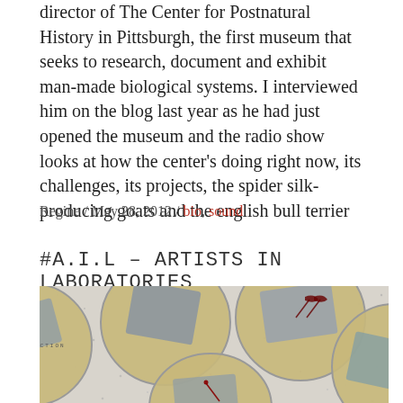director of The Center for Postnatural History in Pittsburgh, the first museum that seeks to research, document and exhibit man-made biological systems. I interviewed him on the blog last year as he had just opened the museum and the radio show looks at how the center's doing right now, its challenges, its projects, the spider silk-producing goats and the english bull terrier
Regine / May 28, 2012 / bio, sound
#A.I.L – ARTISTS IN LABORATORIES
[Figure (photo): Photograph of petri dishes containing fabric swatches with biological cultures on a speckled surface, viewed from above]